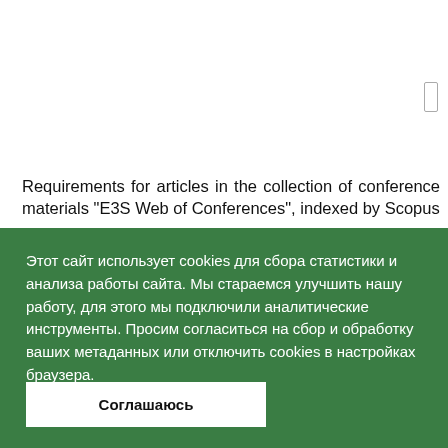Requirements for articles in the collection of conference materials "E3S Web of Conferences", indexed by Scopus
Этот сайт использует cookies для сбора статистики и анализа работы сайта. Мы стараемся улучшить нашу работу, для этого мы подключили аналитические инструменты. Просим согласиться на сбор и обработку ваших метаданных или отключить cookies в настройках браузера.
Соглашаюсь